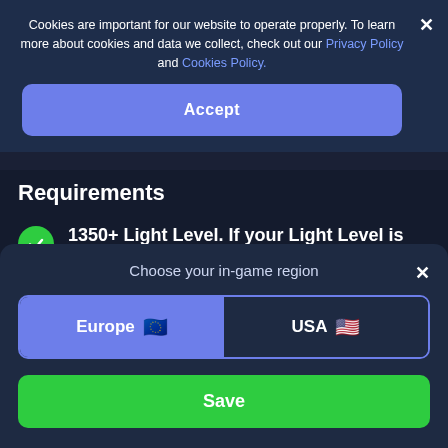Cookies are important for our website to operate properly. To learn more about cookies and data we collect, check out our Privacy Policy and Cookies Policy.
Accept
Requirements
1350+ Light Level. If your Light Level is not high enough, then you can purchase our leveling service which will grant you access to new content and activities as well as save
Choose your in-game region
Europe 🇪🇺
USA 🇺🇸
Save